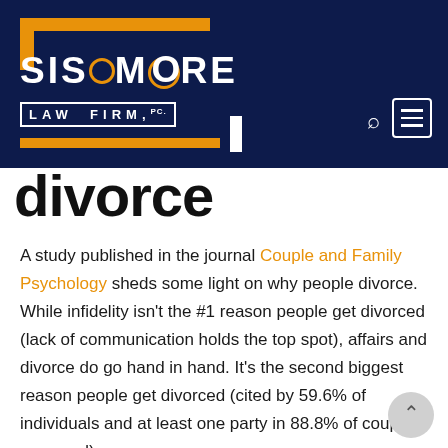[Figure (logo): Sisemore Law Firm, PC logo on dark navy blue header background with orange bracket/corner design elements, search icon, and hamburger menu icon]
divorce
A study published in the journal Couple and Family Psychology sheds some light on why people divorce. While infidelity isn't the #1 reason people get divorced (lack of communication holds the top spot), affairs and divorce do go hand in hand. It's the second biggest reason people get divorced (cited by 59.6% of individuals and at least one party in 88.8% of couples surveyed).